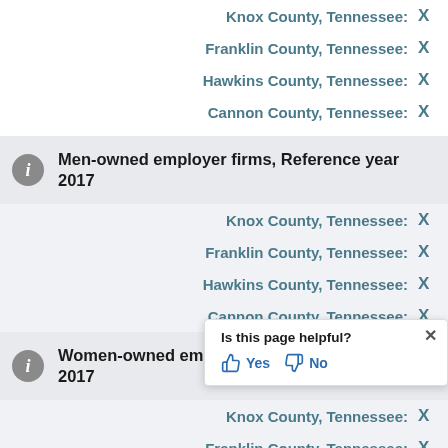Knox County, Tennessee: X
Franklin County, Tennessee: X
Hawkins County, Tennessee: X
Cannon County, Tennessee: X
Men-owned employer firms, Reference year 2017
Knox County, Tennessee: X
Franklin County, Tennessee: X
Hawkins County, Tennessee: X
Cannon County, Tennessee: X
Women-owned employer firms, Reference year 2017
Knox County, Tennessee: X
Franklin County, Tennessee: X
Hawkins County, Tennessee: X
Cannon County, Tennessee: X
Is this page helpful? Yes No